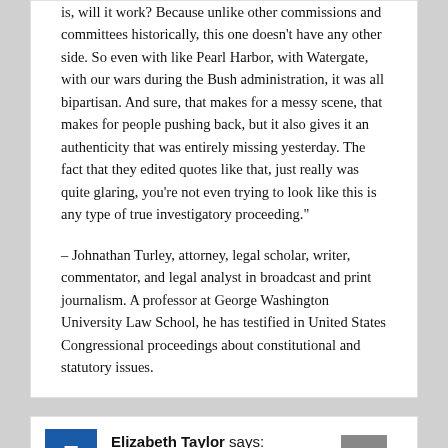is, will it work? Because unlike other commissions and committees historically, this one doesn't have any other side. So even with like Pearl Harbor, with Watergate, with our wars during the Bush administration, it was all bipartisan. And sure, that makes for a messy scene, that makes for people pushing back, but it also gives it an authenticity that was entirely missing yesterday. The fact that they edited quotes like that, just really was quite glaring, you're not even trying to look like this is any type of true investigatory proceeding."
– Johnathan Turley, attorney, legal scholar, writer, commentator, and legal analyst in broadcast and print journalism. A professor at George Washington University Law School, he has testified in United States Congressional proceedings about constitutional and statutory issues.
Elizabeth Taylor says:
June 14, 2022 at 5:17 pm